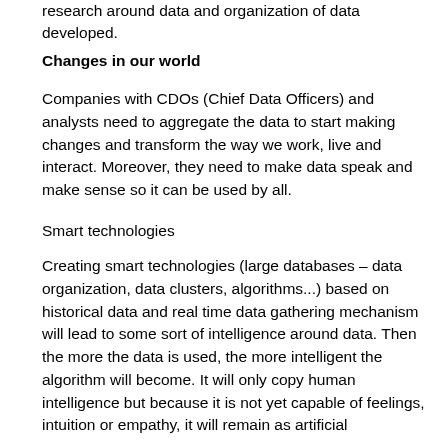research around data and organization of data developed.
Changes in our world
Companies with CDOs (Chief Data Officers) and analysts need to aggregate the data to start making changes and transform the way we work, live and interact. Moreover, they need to make data speak and make sense so it can be used by all.
Smart technologies
Creating smart technologies (large databases – data organization, data clusters, algorithms...) based on historical data and real time data gathering mechanism will lead to some sort of intelligence around data. Then the more the data is used, the more intelligent the algorithm will become. It will only copy human intelligence but because it is not yet capable of feelings, intuition or empathy, it will remain as artificial